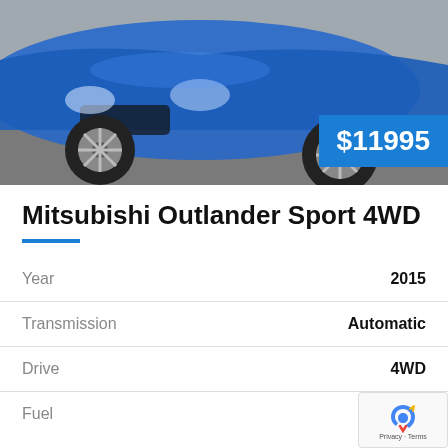[Figure (photo): Front view of a blue Mitsubishi Outlander Sport 4WD parked on pavement, showing the front grille and wheel]
$11995
Mitsubishi Outlander Sport 4WD
| Attribute | Value |
| --- | --- |
| Year | 2015 |
| Transmission | Automatic |
| Drive | 4WD |
| Fuel | Gasoline |
Other Details
This sweet SUV comes with automatic transmission, all-wheel drive and all the power goodies. It's got the fuel